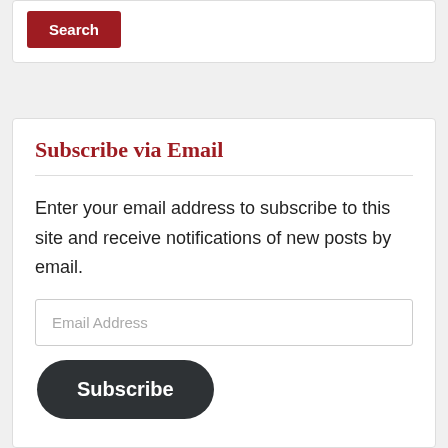[Figure (screenshot): Search button widget with dark red background and white bold text reading 'Search']
Subscribe via Email
Enter your email address to subscribe to this site and receive notifications of new posts by email.
[Figure (screenshot): Email Address input field placeholder text]
[Figure (screenshot): Subscribe button with dark rounded rectangle style and white bold text reading 'Subscribe']